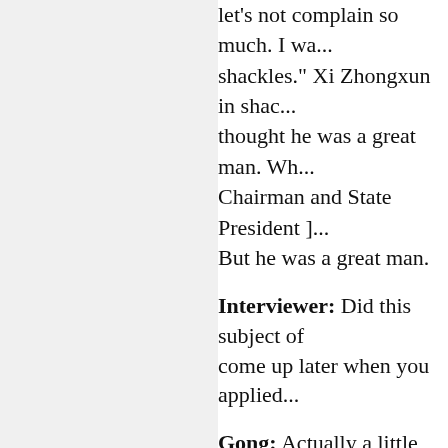let's not complain so much. I wa... shackles." Xi Zhongxun in shac... thought he was a great man. Wh... Chairman and State President ]... But he was a great man.
Interviewer: Did this subject of... come up later when you applied...
Gong: Actually a little bit, they s... of days. I was really pissed off, b... record.
Interviewer: But nobody talked...
Gong: No, nobody said anythin...
Interviewer: Do you have the fe... so important any more at that ti...
Gong: At that time the [Li Yizhe... different time, so being consider...
Interviewer: In 1979 you came...
Gong: ... and studied history.